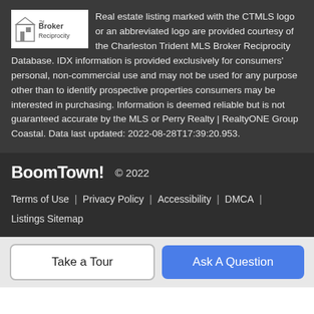[Figure (logo): Broker Reciprocity logo - house icon with text 'Broker Reciprocity' on white background]
Real estate listing marked with the CTMLS logo or an abbreviated logo are provided courtesy of the Charleston Trident MLS Broker Reciprocity Database. IDX information is provided exclusively for consumers' personal, non-commercial use and may not be used for any purpose other than to identify prospective properties consumers may be interested in purchasing. Information is deemed reliable but is not guaranteed accurate by the MLS or Perry Realty | RealtyONE Group Coastal. Data last updated: 2022-08-28T17:39:20.953.
BoomTown! © 2022
Terms of Use | Privacy Policy | Accessibility | DMCA | Listings Sitemap
Take a Tour
Ask A Question